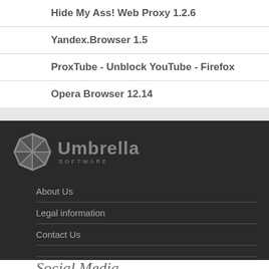Hide My Ass! Web Proxy 1.2.6
Yandex.Browser 1.5
ProxTube - Unblock YouTube - Firefox
Opera Browser 12.14
[Figure (logo): Umbrella Software logo with umbrella icon in gray and text 'Umbrella SOFTWARE']
About Us
Legal information
Contact Us
Social Media (script text, partially visible)